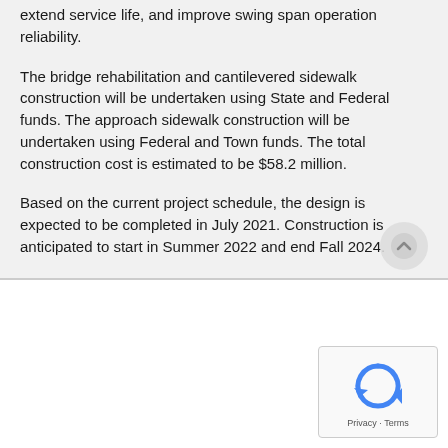extend service life, and improve swing span operation reliability.
The bridge rehabilitation and cantilevered sidewalk construction will be undertaken using State and Federal funds. The approach sidewalk construction will be undertaken using Federal and Town funds. The total construction cost is estimated to be $58.2 million.
Based on the current project schedule, the design is expected to be completed in July 2021. Construction is anticipated to start in Summer 2022 and end Fall 2024.